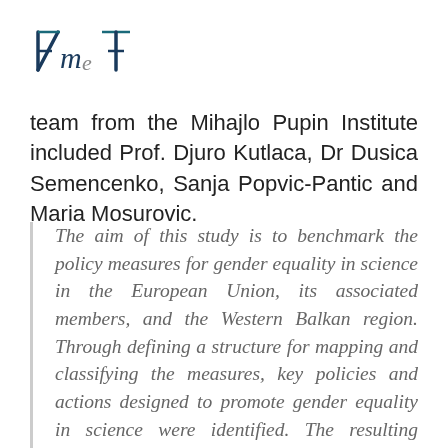[Figure (logo): AME logo with stylized letters A, m, e and a cross symbol in dark teal/navy color]
team from the Mihajlo Pupin Institute included Prof. Djuro Kutlaca, Dr Dusica Semencenko, Sanja Popvic-Pantic and Maria Mosurovic.
The aim of this study is to benchmark the policy measures for gender equality in science in the European Union, its associated members, and the Western Balkan region. Through defining a structure for mapping and classifying the measures, key policies and actions designed to promote gender equality in science were identified. The resulting profiles of national policies and statistics relating to women in science were then